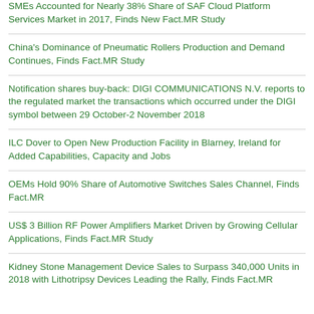SMEs Accounted for Nearly 38% Share of SAF Cloud Platform Services Market in 2017, Finds New Fact.MR Study
China's Dominance of Pneumatic Rollers Production and Demand Continues, Finds Fact.MR Study
Notification shares buy-back: DIGI COMMUNICATIONS N.V. reports to the regulated market the transactions which occurred under the DIGI symbol between 29 October-2 November 2018
ILC Dover to Open New Production Facility in Blarney, Ireland for Added Capabilities, Capacity and Jobs
OEMs Hold 90% Share of Automotive Switches Sales Channel, Finds Fact.MR
US$ 3 Billion RF Power Amplifiers Market Driven by Growing Cellular Applications, Finds Fact.MR Study
Kidney Stone Management Device Sales to Surpass 340,000 Units in 2018 with Lithotripsy Devices Leading the Rally, Finds Fact.MR